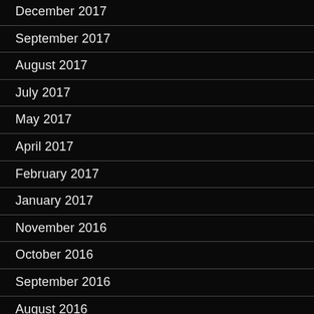December 2017
September 2017
August 2017
July 2017
May 2017
April 2017
February 2017
January 2017
November 2016
October 2016
September 2016
August 2016
July 2016